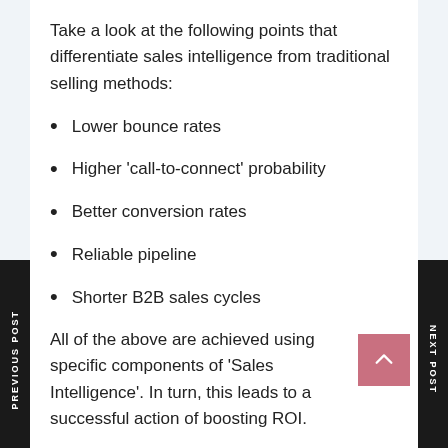Take a look at the following points that differentiate sales intelligence from traditional selling methods:
Lower bounce rates
Higher 'call-to-connect' probability
Better conversion rates
Reliable pipeline
Shorter B2B sales cycles
All of the above are achieved using specific components of 'Sales Intelligence'. In turn, this leads to a successful action of boosting ROI.